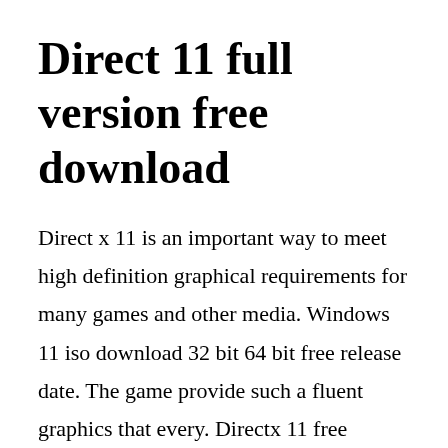Direct 11 full version free download
Direct x 11 is an important way to meet high definition graphical requirements for many games and other media. Windows 11 iso download 32 bit 64 bit free release date. The game provide such a fluent graphics that every. Directx 11 free download full version softwarestoic. Microsoft windows 7 ultimate